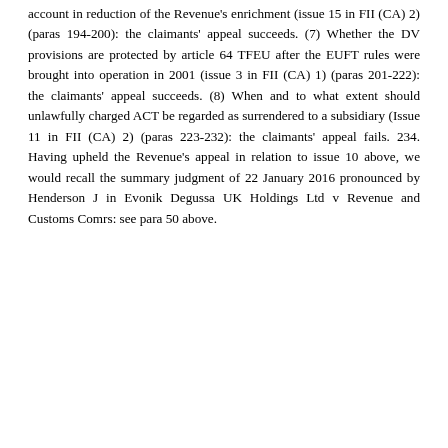account in reduction of the Revenue's enrichment (issue 15 in FII (CA) 2) (paras 194-200): the claimants' appeal succeeds. (7) Whether the DV provisions are protected by article 64 TFEU after the EUFT rules were brought into operation in 2001 (issue 3 in FII (CA) 1) (paras 201-222): the claimants' appeal succeeds. (8) When and to what extent should unlawfully charged ACT be regarded as surrendered to a subsidiary (Issue 11 in FII (CA) 2) (paras 223-232): the claimants' appeal fails. 234. Having upheld the Revenue's appeal in relation to issue 10 above, we would recall the summary judgment of 22 January 2016 pronounced by Henderson J in Evonik Degussa UK Holdings Ltd v Revenue and Customs Comrs: see para 50 above.